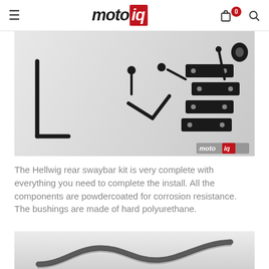motoiq
[Figure (photo): Overhead shot of Hellwig rear swaybar kit components laid out on white background: hex keys/Allen wrenches, small bolts with rounded heads, metal bracket plates with holes, and a rubber grommet — all powdercoated black. motoiq watermark in bottom right corner.]
The Hellwig rear swaybar kit is very complete with everything you need to complete the install. All the components are powdercoated for corrosion resistance. The bushings are made of hard polyurethane.
[Figure (photo): Close-up of a metal swaybar (anti-roll bar) with a wavy S-curve shape, photographed on a white background. The bar appears to be unpainted/natural metal finish.]